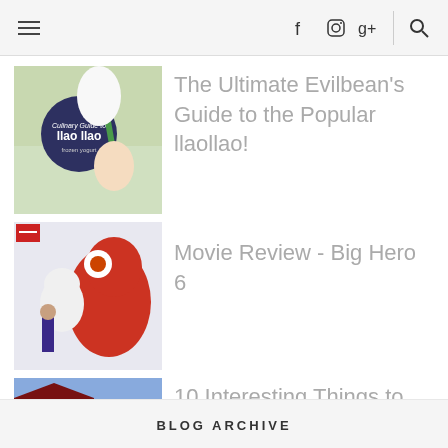☰  f  📷  g+  🔍
The Ultimate Evilbean's Guide to the Popular llaollao!
Movie Review - Big Hero 6
10 Interesting Things to Do and Eat in MELBOURNE, Australia
BLOG ARCHIVE